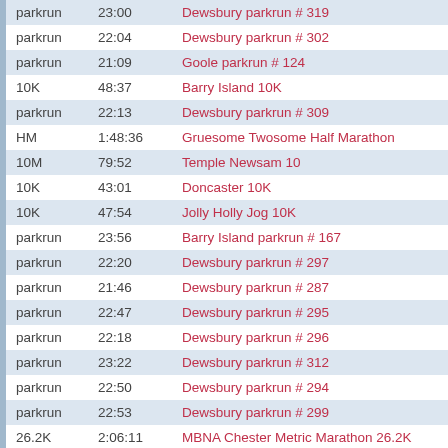| Type | Time | Event |
| --- | --- | --- |
| parkrun | 23:00 | Dewsbury parkrun # 319 |
| parkrun | 22:04 | Dewsbury parkrun # 302 |
| parkrun | 21:09 | Goole parkrun # 124 |
| 10K | 48:37 | Barry Island 10K |
| parkrun | 22:13 | Dewsbury parkrun # 309 |
| HM | 1:48:36 | Gruesome Twosome Half Marathon |
| 10M | 79:52 | Temple Newsam 10 |
| 10K | 43:01 | Doncaster 10K |
| 10K | 47:54 | Jolly Holly Jog 10K |
| parkrun | 23:56 | Barry Island parkrun # 167 |
| parkrun | 22:20 | Dewsbury parkrun # 297 |
| parkrun | 21:46 | Dewsbury parkrun # 287 |
| parkrun | 22:47 | Dewsbury parkrun # 295 |
| parkrun | 22:18 | Dewsbury parkrun # 296 |
| parkrun | 23:22 | Dewsbury parkrun # 312 |
| parkrun | 22:50 | Dewsbury parkrun # 294 |
| parkrun | 22:53 | Dewsbury parkrun # 299 |
| 26.2K | 2:06:11 | MBNA Chester Metric Marathon 26.2K |
| 10M | 74:02 | Gilberdyke 10 |